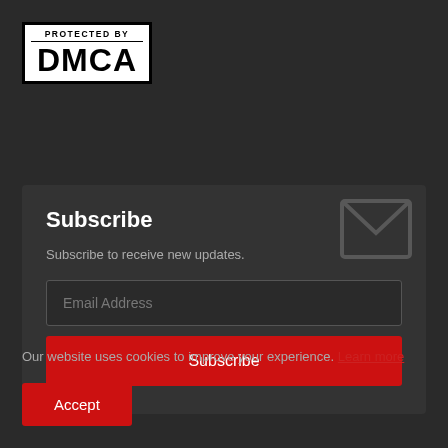[Figure (logo): DMCA Protected By badge — white rectangle with black border, text 'PROTECTED BY' in small caps above large bold 'DMCA']
Subscribe
Subscribe to receive new updates.
Email Address
Subscribe
Our website uses cookies to improve your experience. Learn more
Accept